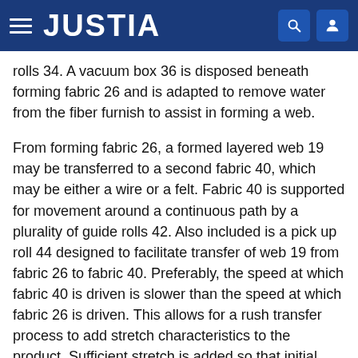JUSTIA
rolls 34. A vacuum box 36 is disposed beneath forming fabric 26 and is adapted to remove water from the fiber furnish to assist in forming a web.
From forming fabric 26, a formed layered web 19 may be transferred to a second fabric 40, which may be either a wire or a felt. Fabric 40 is supported for movement around a continuous path by a plurality of guide rolls 42. Also included is a pick up roll 44 designed to facilitate transfer of web 19 from fabric 26 to fabric 40. Preferably, the speed at which fabric 40 is driven is slower than the speed at which fabric 26 is driven. This allows for a rush transfer process to add stretch characteristics to the product. Sufficient stretch is added so that initial creping of the web prior to bonding is unnecessary in this embodiment. Web 19 is removed from fabric 40 by another vacuum roll (not shown) onto another fabric